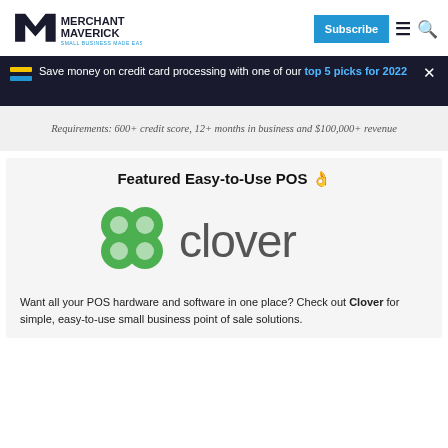Merchant Maverick - Small Business Made Easy
Save money on credit card processing with one of our top 5 picks for 2022
Requirements: 600+ credit score, 12+ months in business and $100,000+ revenue
Featured Easy-to-Use POS 👌
[Figure (logo): Clover logo - green four-leaf clover icon with 'clover' text in dark grey]
Want all your POS hardware and software in one place? Check out Clover for simple, easy-to-use small business point of sale solutions.